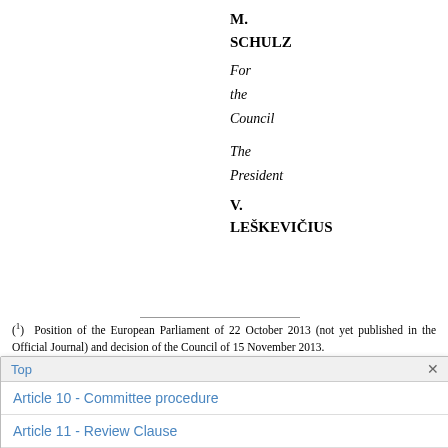M. SCHULZ
For
the
Council
The
President
V.
LEŠKEVIČIUS
(1) Position of the European Parliament of 22 October 2013 (not yet published in the Official Journal) and decision of the Council of 15 November 2013.
(2) Regulation (EC) No 1059/2003 of the European Parliament and of the Council of 26 May 2003 on the establishment of a common classification of...
Top
Article 10 - Committee procedure
Article 11 - Review Clause
Article 12 - Entry into force